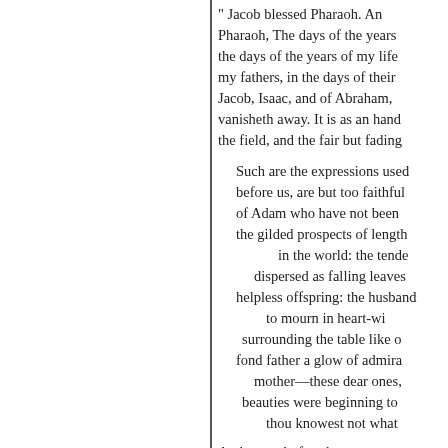" Jacob blessed Pharaoh. And Jacob said unto Pharaoh, The days of the years of my pilgrimage are; the days of the years of my life have been few and evil, my fathers, in the days of their pilgrimage. Of Jacob, Isaac, and of Abraham, vanisheth away. It is as an hand the field, and the fair but fading
Such are the expressions used before us, are but too faithful of Adam who have not been the gilded prospects of length in the world: the tender dispersed as falling leaves helpless offspring: the husband to mourn in heart-wi surrounding the table like o fond father a glow of admira mother—these dear ones, beauties were beginning to thou knowest not what
And not only few, but sorrow
« Anterior